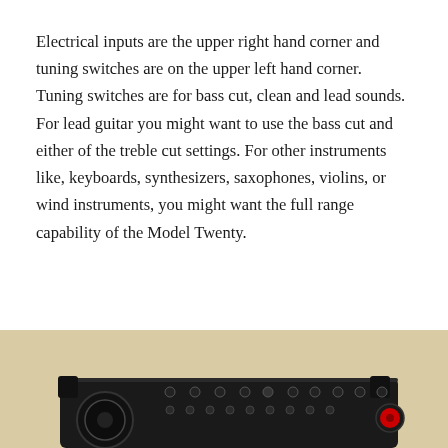Electrical inputs are the upper right hand corner and tuning switches are on the upper left hand corner. Tuning switches are for bass cut, clean and lead sounds. For lead guitar you might want to use the bass cut and either of the treble cut settings. For other instruments like, keyboards, synthesizers, saxophones, violins, or wind instruments, you might want the full range capability of the Model Twenty.
[Figure (photo): Bottom portion of a photo showing an electronic amplifier unit (Model Twenty) with a dark/black panel face, featuring multiple knobs, switches, and input jacks visible along the top edge of the unit. The background is a tan/beige color.]